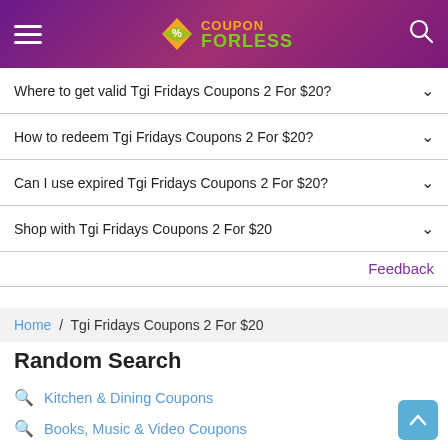Coupon ForLess
Where to get valid Tgi Fridays Coupons 2 For $20?
How to redeem Tgi Fridays Coupons 2 For $20?
Can I use expired Tgi Fridays Coupons 2 For $20?
Shop with Tgi Fridays Coupons 2 For $20
Feedback
Home / Tgi Fridays Coupons 2 For $20
Random Search
Kitchen & Dining Coupons
Books, Music & Video Coupons
Contact Lenses & Eye Care Coupons
Fluticasone Propionate Coupon Code
Savage X Fenty 2 For 29
Krispy Kreme Donuts Promo Code